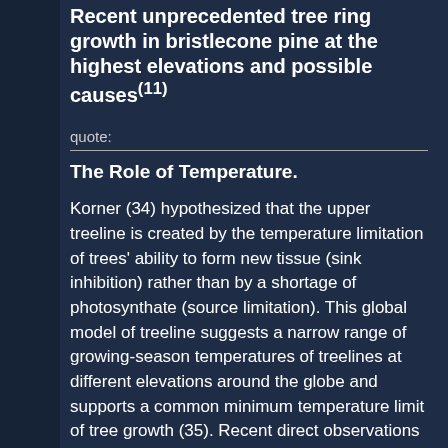Recent unprecedented tree ring growth in bristlecone pine at the highest elevations and possible causes(11)
quote:
The Role of Temperature.
Korner (34) hypothesized that the upper treeline is created by the temperature limitation of trees' ability to form new tissue (sink inhibition) rather than by a shortage of photosynthate (source limitation). This global model of treeline suggests a narrow range of growing-season temperatures of treelines at different elevations around the globe and supports a common minimum temperature limit of tree growth (35). Recent direct observations of xylogenesis (wood formation) coupled with soil, air, and stem temperatures provide strong corroboration for